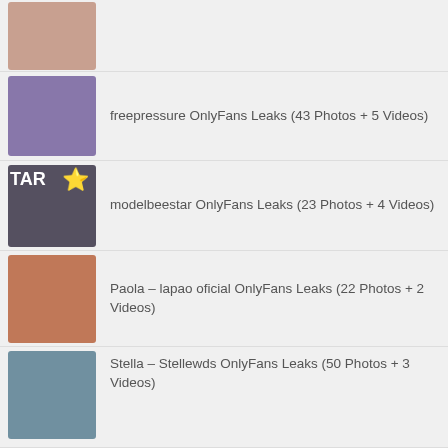(partial item, image only visible at top)
freepressure OnlyFans Leaks (43 Photos + 5 Videos)
modelbeestar OnlyFans Leaks (23 Photos + 4 Videos)
Paola – lapao oficial OnlyFans Leaks (22 Photos + 2 Videos)
Stella – Stellewds OnlyFans Leaks (50 Photos + 3 Videos)